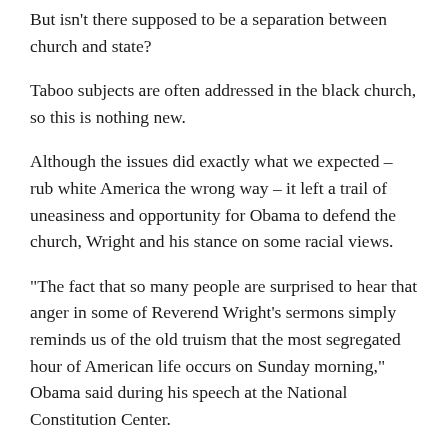But isn't there supposed to be a separation between church and state?
Taboo subjects are often addressed in the black church, so this is nothing new.
Although the issues did exactly what we expected – rub white America the wrong way – it left a trail of uneasiness and opportunity for Obama to defend the church, Wright and his stance on some racial views.
“The fact that so many people are surprised to hear that anger in some of Reverend Wright’s sermons simply reminds us of the old truism that the most segregated hour of American life occurs on Sunday morning,” Obama said during his speech at the National Constitution Center.
Conservative Americans need to cut Obama some slack and allow for seperation of the entities.. It’s 2008, not 1928.